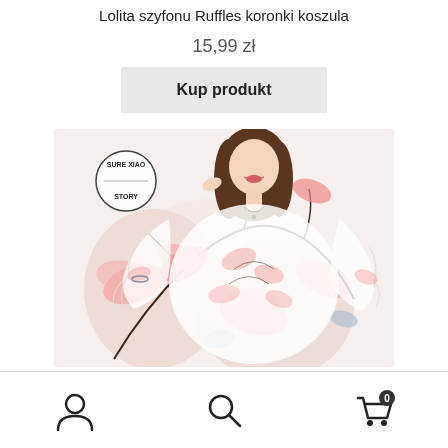Lolita szyfonu Ruffles koronki koszula
15,99 zł
Kup produkt
[Figure (photo): Woman wearing a floral chiffon blouse with ruffled sleeves, branded with Sure Xiao Story logo]
User icon, Search icon, Cart icon with badge 0